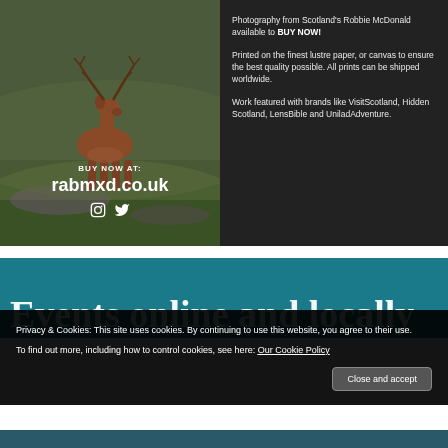[Figure (photo): Red deer stag standing on green Scottish hillside with purple heather]
BUY NOW AT:
rabmxd.co.uk
Photography from Scotland's Robbie McDonald available to BUY NOW!

Printed on the finest lustre paper, or canvas to ensure the best quality possible. All prints can be shipped worldwide.

Work featured with brands like VisitScotland, Hidden Scotland, LensBible and UniladAdventure.
Events online and locally
Privacy & Cookies: This site uses cookies. By continuing to use this website, you agree to their use.
To find out more, including how to control cookies, see here: Our Cookie Policy